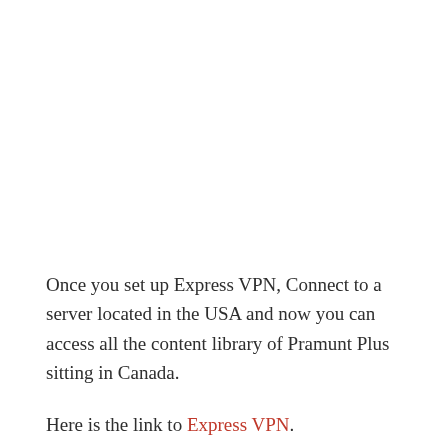Once you set up Express VPN, Connect to a server located in the USA and now you can access all the content library of Pramunt Plus sitting in Canada.
Here is the link to Express VPN.
2. Nord VPN